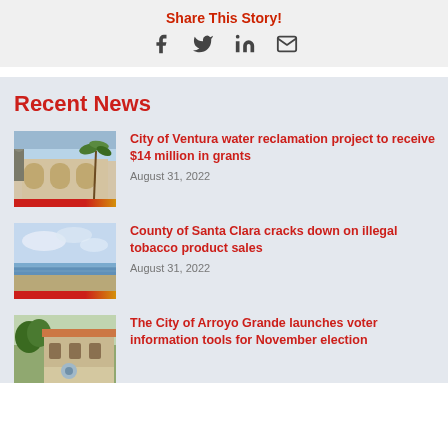Share This Story!
[Figure (infographic): Social share icons: Facebook, Twitter, LinkedIn, Email]
Recent News
[Figure (photo): Photo of a building with arches and a statue, City of Ventura]
City of Ventura water reclamation project to receive $14 million in grants
August 31, 2022
[Figure (photo): Photo of a coastline/beach with clouds, County of Santa Clara]
County of Santa Clara cracks down on illegal tobacco product sales
August 31, 2022
[Figure (photo): Photo of a building with trees, City of Arroyo Grande]
The City of Arroyo Grande launches voter information tools for November election